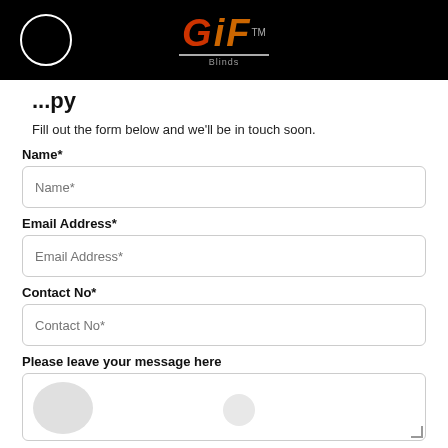[Figure (logo): GiF Blinds logo with circle icon on black header bar]
...py
Fill out the form below and we'll be in touch soon.
Name*
Name*
Email Address*
Email Address*
Contact No*
Contact No*
Please leave your message here